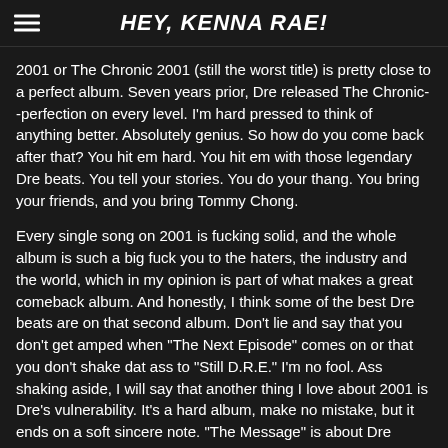HEY, KENNA RAE!
2001 or The Chronic 2001 (still the worst title) is pretty close to a perfect album. Seven years prior, Dre released The Chronic--perfection on every level. I'm hard pressed to think of anything better. Absolutely genius. So how do you come back after that? You hit em hard. You hit em with those legendary Dre beats. You tell your stories. You do your thang. You bring your friends, and you bring Tommy Chong.
Every single song on 2001 is fucking solid, and the whole album is such a big fuck you to the haters, the industry and the world, which in my opinion is part of what makes a great comeback album. And honestly, I think some of the best Dre beats are on that second album. Don't lie and say that you don't get amped when "The Next Episode" comes on or that you don't shake dat ass to "Still D.R.E." I'm no fool. Ass shaking aside, I will say that another thing I love about 2001 is Dre's vulnerability. It's a hard album, make no mistake, but it ends on a soft sincere note. "The Message" is about Dre losing his brother Tyree, and man if those lyrics don't gut me. Dre